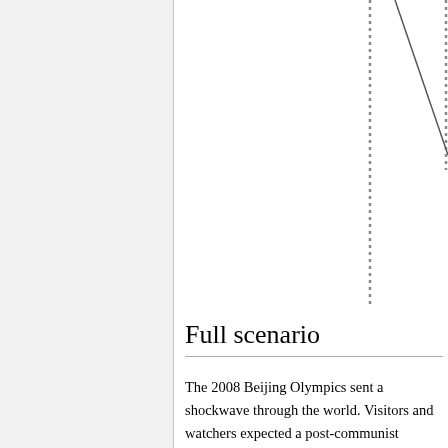[Figure (other): Partial image visible in top right with dotted vertical lines overlaid]
Full scenario
The 2008 Beijing Olympics sent a shockwave through the world. Visitors and watchers expected a post-communist developing country and discovered huge, clean, modern and secure cities, top-notch facilities and organization, international brands of everything in huge shopping malls, Chinese brands producing world-level quality tech products, and (perhaps doped, but undetectably so) sportsman able to reap medals in almost any